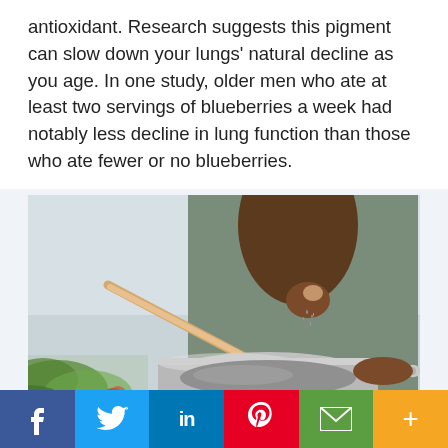antioxidant. Research suggests this pigment can slow down your lungs' natural decline as you age. In one study, older men who ate at least two servings of blueberries a week had notably less decline in lung function than those who ate fewer or no blueberries.
[Figure (photo): A person (dark-skinned) sprinkling seasoning into a shiny silver saucepan on a kitchen surface, with green salad and vegetables visible in the foreground]